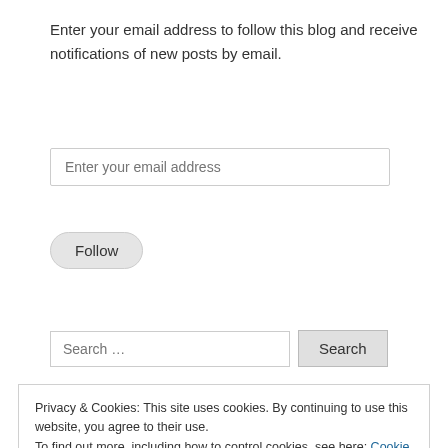Enter your email address to follow this blog and receive notifications of new posts by email.
[Figure (screenshot): Email input field with placeholder text 'Enter your email address']
[Figure (screenshot): Follow button with rounded pill shape]
[Figure (screenshot): Search input field with placeholder 'Search ...' and a Search button]
Privacy & Cookies: This site uses cookies. By continuing to use this website, you agree to their use.
To find out more, including how to control cookies, see here: Cookie Policy
[Figure (screenshot): Close and accept button]